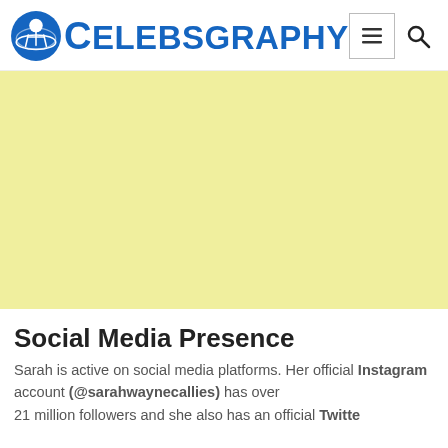CELEBSGRAPHY
[Figure (other): Light yellow advertisement banner placeholder]
Social Media Presence
Sarah is active on social media platforms. Her official Instagram account (@sarahwaynecallies) has over 21 million followers and she also has an official Twitte…